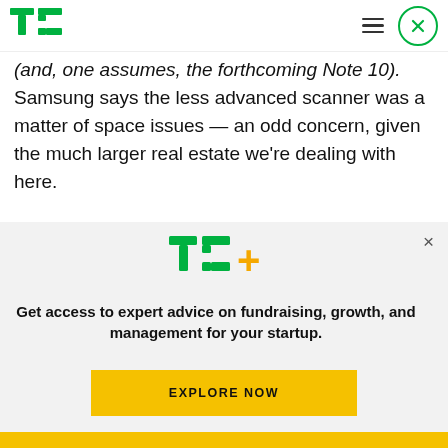TechCrunch navigation bar with TC logo, hamburger menu, and close button
(and, one assumes, the forthcoming Note 10). Samsung says the less advanced scanner was a matter of space issues — an odd concern, given the much larger real estate we're dealing with here.
[Figure (photo): Back view of a Samsung tablet in light blue/silver color showing dual camera and S Pen slot]
[Figure (logo): TechCrunch TC+ logo in green and yellow]
Get access to expert advice on fundraising, growth, and management for your startup.
EXPLORE NOW